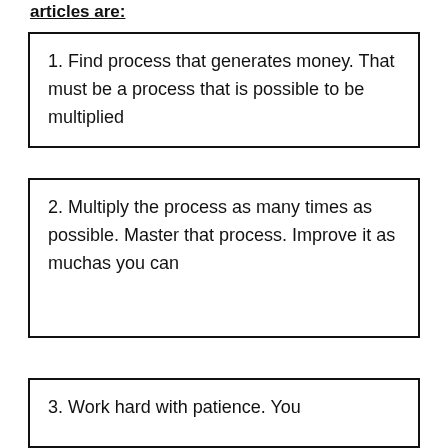articles are:
1. Find process that generates money. That must be a process that is possible to be multiplied
2. Multiply the process as many times as possible. Master that process. Improve it as muchas you can
3. Work hard with patience. You